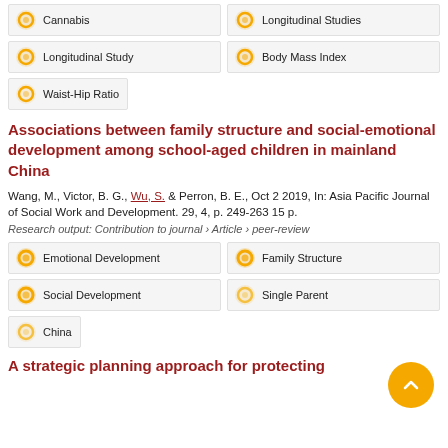Cannabis
Longitudinal Studies
Longitudinal Study
Body Mass Index
Waist-Hip Ratio
Associations between family structure and social-emotional development among school-aged children in mainland China
Wang, M., Victor, B. G., Wu, S. & Perron, B. E., Oct 2 2019, In: Asia Pacific Journal of Social Work and Development. 29, 4, p. 249-263 15 p.
Research output: Contribution to journal › Article › peer-review
Emotional Development
Family Structure
Social Development
Single Parent
China
A strategic planning approach for protecting